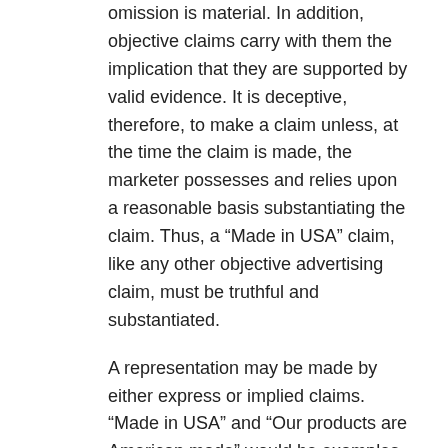omission is material. In addition, objective claims carry with them the implication that they are supported by valid evidence. It is deceptive, therefore, to make a claim unless, at the time the claim is made, the marketer possesses and relies upon a reasonable basis substantiating the claim. Thus, a “Made in USA” claim, like any other objective advertising claim, must be truthful and substantiated.
A representation may be made by either express or implied claims. “Made in USA” and “Our products are American made” would be examples of express U.S. origin claims. In identifying implied claims, the Commission focuses on the overall net impression of an advertisement, label, or other promotional material. This requires an